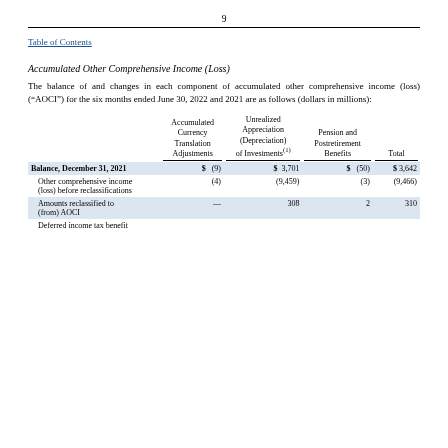9
Table of Contents
Accumulated Other Comprehensive Income (Loss)
The balance of and changes in each component of accumulated other comprehensive income (loss) (“AOCI”) for the six months ended June 30, 2022 and 2021 are as follows (dollars in millions):
|  | Accumulated Currency Translation Adjustments | Unrealized Appreciation (Depreciation) of Investments(1) | Pension and Postretirement Benefits | Total |
| --- | --- | --- | --- | --- |
| Balance, December 31, 2021 | $ (9) | $ 3,701 | $ (50) | $ 3,642 |
| Other comprehensive income (loss) before reclassifications | (4) | (9,459) | (3) | (9,466) |
| Amounts reclassified to (from) AOCI | — | 308 | 2 | 310 |
| Deferred income tax benefit |  |  |  |  |